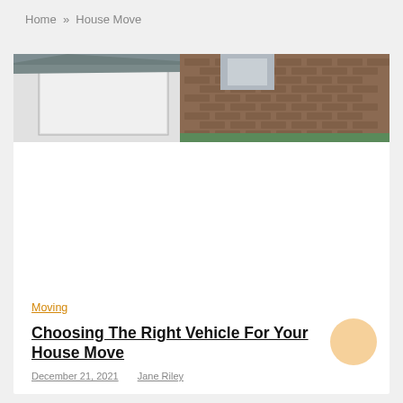Home » House Move
[Figure (photo): Aerial photo of rooftops and building structures including brick and metal surfaces]
Moving
Choosing The Right Vehicle For Your House Move
December 21, 2021   Jane Riley